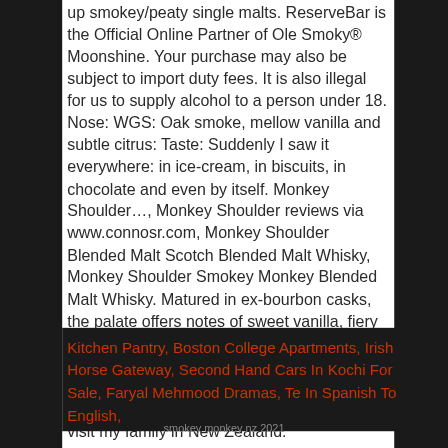up smokey/peaty single malts. ReserveBar is the Official Online Partner of Ole Smoky® Moonshine. Your purchase may also be subject to import duty fees. It is also illegal for us to supply alcohol to a person under 18. Nose: WGS: Oak smoke, mellow vanilla and subtle citrus: Taste: Suddenly I saw it everywhere: in ice-cream, in biscuits, in chocolate and even by itself. Monkey Shoulder…, Monkey Shoulder reviews via www.connosr.com, Monkey Shoulder Blended Malt Scotch Blended Malt Whisky, Monkey Shoulder Smokey Monkey Blended Malt Whisky. Matured in ex-bourbon casks, the palate offers notes of sweet vanilla, fiery black pepper and bright citrus, with waves of earthy peat smoke building in the background. I had forgotten all about hokey pokey until recently when we went down to visit my family in New Zealand.
Kitchen Pantry, Boston College Apartments, Irish Horse Gateway, Second Hand Cars In Kochi For Sale, Faryal Mehmood Dramas, Te In Spanish To English,
smokey monkey nz 2021